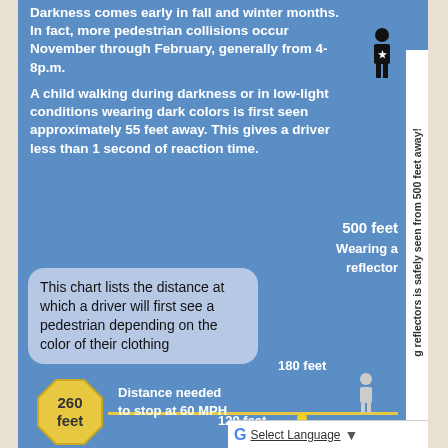Darkness comes early in fall and winter months. In fact, more pedestrian collisions occur November through February, generally from 4-8p.m.
A child walking during darkness or in low-light conditions wearing dark colors is first seen approximately 55 feet away. This gives a driver less than 1 second of reaction time.
[Figure (infographic): Infographic showing pedestrian visibility distances at night based on clothing/reflectors. A vertical white bar on the right represents distance. A figure wearing a reflector is shown at 500 feet. An octagonal yellow sign shows 260 feet as the distance needed to stop at 60 MPH. Person figures shown at 180 feet and 120 feet. A chart box explains the chart lists distance at which a driver first sees a pedestrian depending on clothing color. Vertical text on right bar reads: 'Wearing reflectors is safely seen from 500 feet away!']